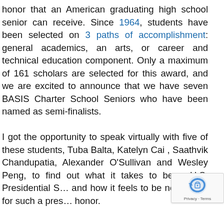honor that an American graduating high school senior can receive. Since 1964, students have been selected on 3 paths of accomplishment: general academics, an arts, or career and technical education component. Only a maximum of 161 scholars are selected for this award, and we are excited to announce that we have seven BASIS Charter School Seniors who have been named as semi-finalists.

I got the opportunity to speak virtually with five of these students, Tuba Balta, Katelyn Cai , Saathvik Chandupatia, Alexander O'Sullivan and Wesley Peng, to find out what it takes to be a U.S. Presidential S... and how it feels to be nominated for such a pres... honor.